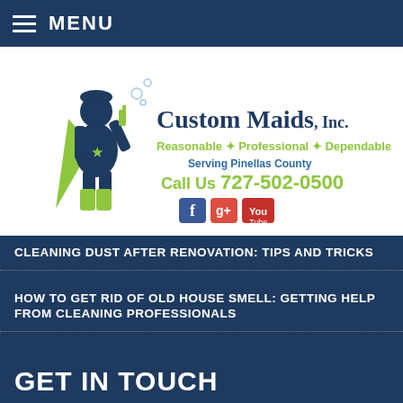MENU
[Figure (logo): Custom Maids Inc. logo featuring a superhero maid figure in navy and lime green, with text: Custom Maids, Inc. Reasonable * Professional * Dependable. Serving Pinellas County. Call Us 727-502-0500. Social media icons for Facebook, Google+, and YouTube.]
CLEANING DUST AFTER RENOVATION: TIPS AND TRICKS
HOW TO GET RID OF OLD HOUSE SMELL: GETTING HELP FROM CLEANING PROFESSIONALS
GET IN TOUCH